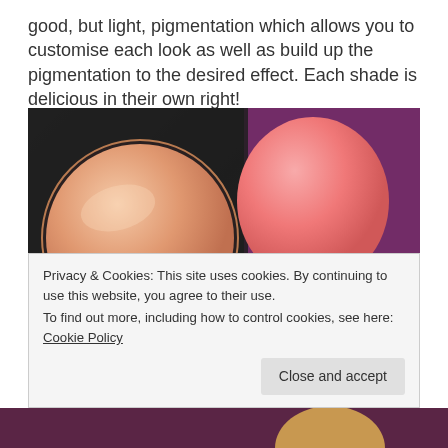good, but light, pigmentation which allows you to customise each look as well as build up the pigmentation to the desired effect. Each shade is delicious in their own right!
[Figure (photo): Close-up photo of a makeup blush palette on a dark/black tray against a purple textured background. Three circular blush pans visible: a large peach/shimmer blush on the left, a coral-pink blush top right, and a smaller pink blush bottom right. Decorative white line design on the palette tray.]
Privacy & Cookies: This site uses cookies. By continuing to use this website, you agree to their use.
To find out more, including how to control cookies, see here: Cookie Policy
Close and accept